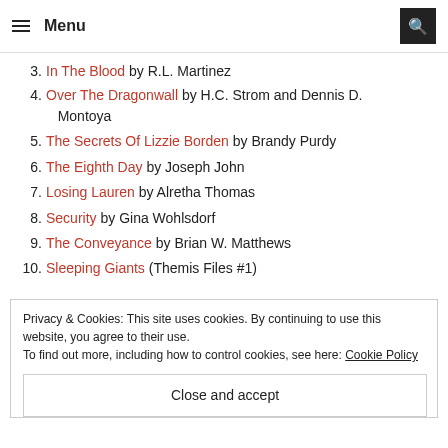Menu
3. In The Blood by R.L. Martinez
4. Over The Dragonwall by H.C. Strom and Dennis D. Montoya
5. The Secrets Of Lizzie Borden by Brandy Purdy
6. The Eighth Day by Joseph John
7. Losing Lauren by Alretha Thomas
8. Security by Gina Wohlsdorf
9. The Conveyance by Brian W. Matthews
10. Sleeping Giants (Themis Files #1)
Privacy & Cookies: This site uses cookies. By continuing to use this website, you agree to their use. To find out more, including how to control cookies, see here: Cookie Policy
Close and accept